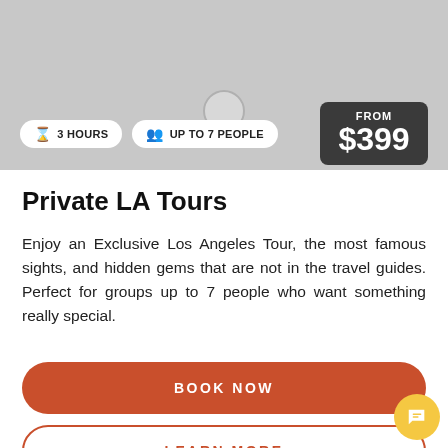[Figure (screenshot): Gray placeholder image area at the top of a mobile app screen showing a tour listing]
3 HOURS
UP TO 7 PEOPLE
FROM $399
Private LA Tours
Enjoy an Exclusive Los Angeles Tour, the most famous sights, and hidden gems that are not in the travel guides. Perfect for groups up to 7 people who want something really special.
BOOK NOW
LEARN MORE